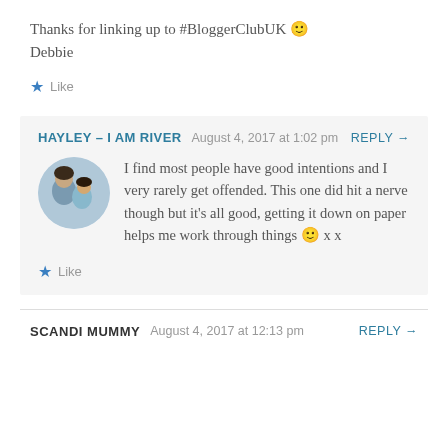Thanks for linking up to #BloggerClubUK 🙂 Debbie
★ Like
HAYLEY - I AM RIVER   August 4, 2017 at 1:02 pm   REPLY →
[Figure (photo): Circular avatar photo of a woman and child]
I find most people have good intentions and I very rarely get offended. This one did hit a nerve though but it's all good, getting it down on paper helps me work through things 🙂 x x
★ Like
SCANDI MUMMY   August 4, 2017 at 12:13 pm   REPLY →